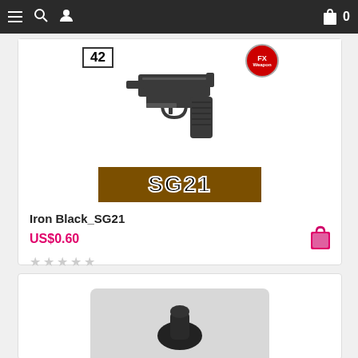Navigation bar with menu, search, profile icons and shopping bag with 0 items
[Figure (screenshot): Product listing card showing a dark pistol (SG21) with badge '42' top left, FX brand badge top right, and brown banner with 'SG21' text at bottom]
Iron Black_SG21
US$0.60
[Figure (other): Second product card partially visible at bottom of page showing a dark object on grey background]